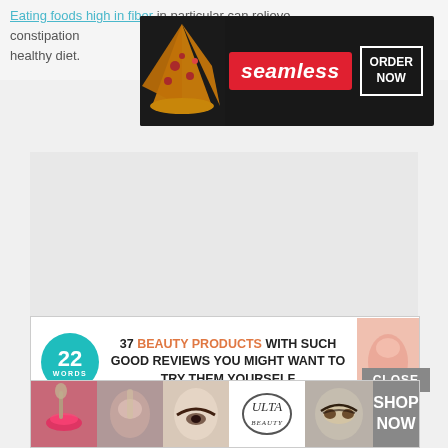Eating foods high in fiber in particular can relieve constipation and are an important part of a healthy diet.
[Figure (other): Seamless food delivery advertisement banner with pizza image, seamless logo, and ORDER NOW button]
[Figure (other): Gray placeholder content box]
[Figure (other): 22 Words advertisement: 37 BEAUTY PRODUCTS WITH SUCH GOOD REVIEWS YOU MIGHT WANT TO TRY THEM YOURSELF, with 22 Words circle logo and product image]
[Figure (other): CLOSE button (gray rectangle)]
[Figure (other): ULTA Beauty advertisement banner with makeup faces, ULTA logo, and SHOP NOW button]